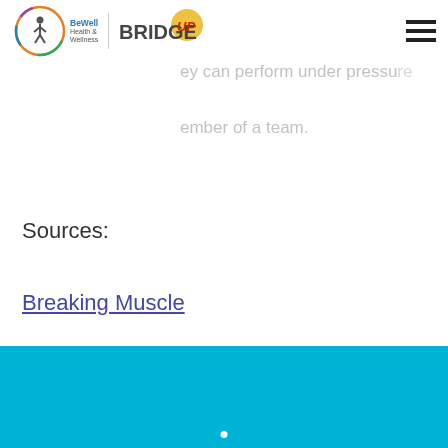BeWell Health & Wellness | BridgeUp [logo]
from scholar athletes because they have
they can perform under pressure
ember of a team.
Sources:
Breaking Muscle
College Express